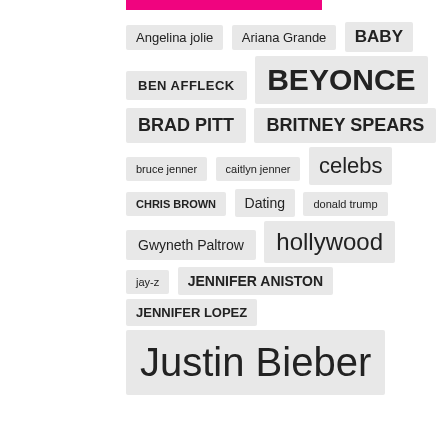Angelina jolie
Ariana Grande
BABY
BEN AFFLECK
BEYONCE
BRAD PITT
BRITNEY SPEARS
bruce jenner
caitlyn jenner
celebs
CHRIS BROWN
Dating
donald trump
Gwyneth Paltrow
hollywood
jay-z
JENNIFER ANISTON
JENNIFER LOPEZ
Justin Bieber